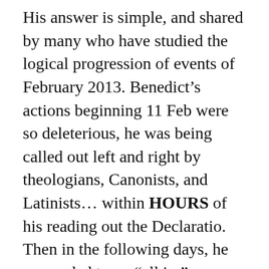His answer is simple, and shared by many who have studied the logical progression of events of February 2013. Benedict's actions beginning 11 Feb were so deleterious, he was being called out left and right by theologians, Canonists, and Latinists… within HOURS of his reading out the Declaratio. Then in the following days, he proceeded to go “all in:” Announcing his intention to remain physically (and spiritually) within the enclosure of St. Peter, to wear white, to retain the papal title, to retain the form of address “His Holiness,” intervened to prevent destruction of the Fisherman’s Ring, etc. Vaticanistas were howling at this. What better way to “reassure” everyone that a “conclave” was really, really, going to take place, yes, really, really, trust me… what better